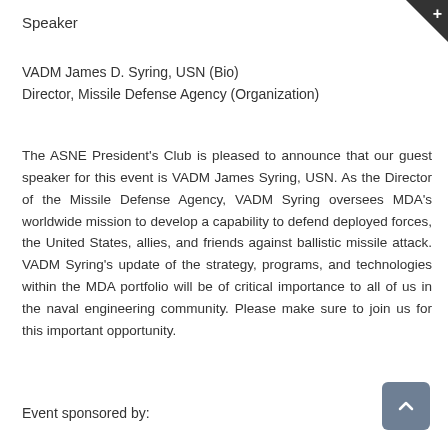Speaker
VADM James D. Syring, USN (Bio)
Director, Missile Defense Agency (Organization)
The ASNE President's Club is pleased to announce that our guest speaker for this event is VADM James Syring, USN. As the Director of the Missile Defense Agency, VADM Syring oversees MDA's worldwide mission to develop a capability to defend deployed forces, the United States, allies, and friends against ballistic missile attack. VADM Syring's update of the strategy, programs, and technologies within the MDA portfolio will be of critical importance to all of us in the naval engineering community. Please make sure to join us for this important opportunity.
Event sponsored by: